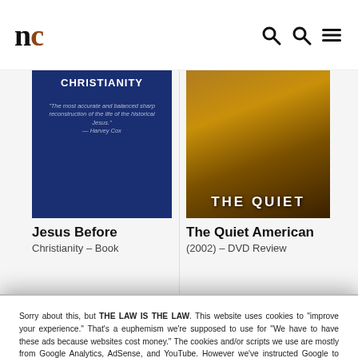nc
[Figure (photo): Book cover for 'Jesus Before Christianity' - dark blue cover with white text and an italic quote]
Jesus Before Christianity
Christianity – Book
[Figure (photo): DVD cover for 'The Quiet American (2002)' - warm amber/brown tones showing a figure in a suit]
The Quiet American (2002)
(2002) – DVD Review
Sorry about this, but THE LAW IS THE LAW. This website uses cookies to "improve your experience." That's a euphemism we're supposed to use for "We have to have these ads because websites cost money." The cookies and/or scripts we use are mostly from Google Analytics, AdSense, and YouTube. However we've instructed Google to anonymize any data that they collect. Just so you know. We'll assume you're ok with this, but you can opt-out if you wish. Just bear in mind, certain embeds and such might not work.<br /> <br /> Also, please be aware that when we link out to products, we may earn a commission for doing so. Because we're certainly not doing it for our health. See our privacy policy & terms of use for more info than you would ever want to know. – Privacy Policy & Terms of Use